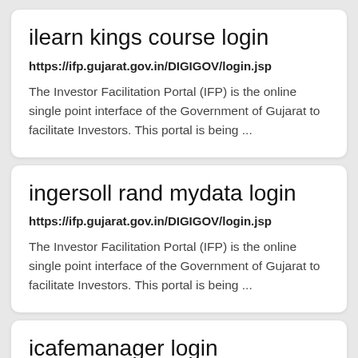ilearn kings course login
https://ifp.gujarat.gov.in/DIGIGOV/login.jsp
The Investor Facilitation Portal (IFP) is the online single point interface of the Government of Gujarat to facilitate Investors. This portal is being ...
ingersoll rand mydata login
https://ifp.gujarat.gov.in/DIGIGOV/login.jsp
The Investor Facilitation Portal (IFP) is the online single point interface of the Government of Gujarat to facilitate Investors. This portal is being ...
icafemanager login